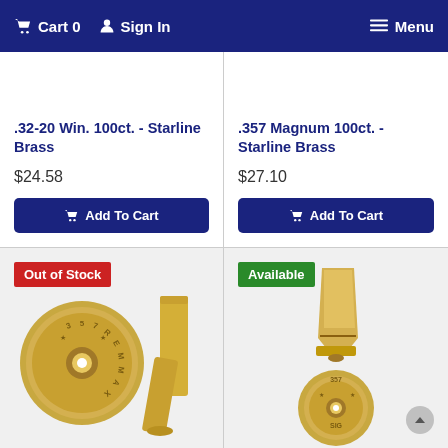Cart 0   Sign In   Menu
.32-20 Win. 100ct. - Starline Brass
$24.58
Add To Cart
.357 Magnum 100ct. - Starline Brass
$27.10
Add To Cart
Out of Stock
[Figure (photo): 357 REMMAX brass cartridge casings showing head stamp and side view]
Available
[Figure (photo): 357 SIG brass cartridge casing showing head stamp and side view]